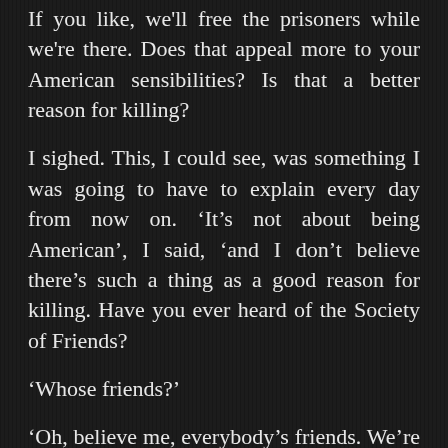If you like, we'll free the prisoners while we're there. Does that appeal more to your American sensibilities? Is that a better reason for killing?
I sighed. This, I could see, was something I was going to have to explain every day from now on. 'It's not about being American', I said, 'and I don't believe there's such a thing as a good reason for killing. Have you ever heard of the Society of Friends?
'Whose friends?'
'Oh, believe me, everybody's friends. We're also called the